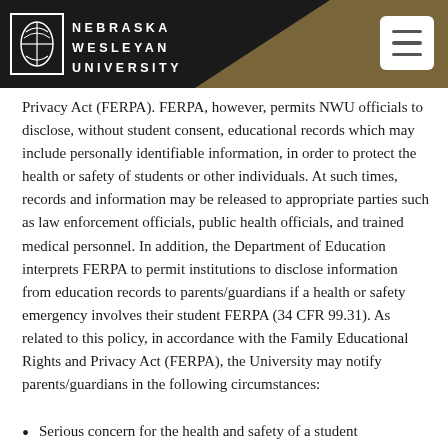Nebraska Wesleyan University
Privacy Act (FERPA). FERPA, however, permits NWU officials to disclose, without student consent, educational records which may include personally identifiable information, in order to protect the health or safety of students or other individuals. At such times, records and information may be released to appropriate parties such as law enforcement officials, public health officials, and trained medical personnel. In addition, the Department of Education interprets FERPA to permit institutions to disclose information from education records to parents/guardians if a health or safety emergency involves their student FERPA (34 CFR 99.31). As related to this policy, in accordance with the Family Educational Rights and Privacy Act (FERPA), the University may notify parents/guardians in the following circumstances:
Serious concern for the health and safety of a student